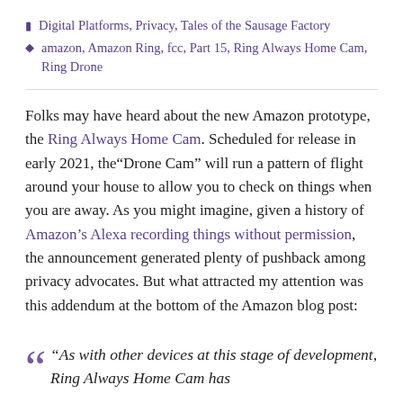🏷 Digital Platforms, Privacy, Tales of the Sausage Factory
🏷 amazon, Amazon Ring, fcc, Part 15, Ring Always Home Cam, Ring Drone
Folks may have heard about the new Amazon prototype, the Ring Always Home Cam. Scheduled for release in early 2021, the“Drone Cam” will run a pattern of flight around your house to allow you to check on things when you are away. As you might imagine, given a history of Amazon’s Alexa recording things without permission, the announcement generated plenty of pushback among privacy advocates. But what attracted my attention was this addendum at the bottom of the Amazon blog post:
“As with other devices at this stage of development, Ring Always Home Cam has